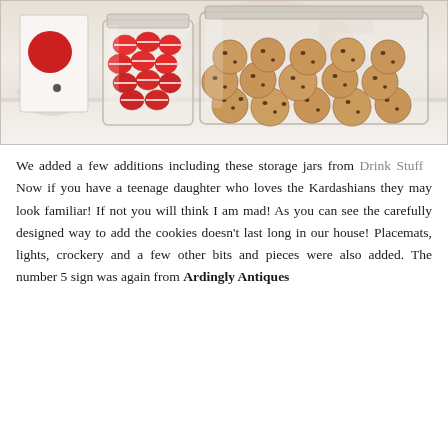[Figure (photo): Photo of storage jars on a white surface: a white sign/tablet with a red circle, a glass jar filled with red and white striped candy/sweets, and a larger glass jar filled with chocolate chip cookies. A faded large number '5' is visible in the background.]
We added a few additions including these storage jars from Drink Stuff  Now if you have a teenage daughter who loves the Kardashians they may look familiar! If not you will think I am mad! As you can see the carefully designed way to add the cookies doesn't last long in our house! Placemats, lights, crockery and a few other bits and pieces were also added. The number 5 sign was again from Ardingly Antiques